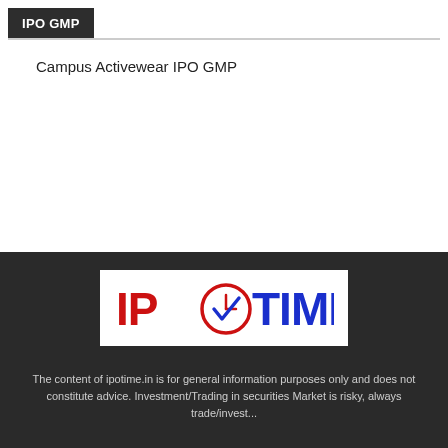IPO GMP
Campus Activewear IPO GMP
[Figure (logo): IPOTIME logo — red 'IPO' text with a clock/checkmark icon replacing the 'O', blue 'TIME' text, on white background]
The content of ipotime.in is for general information purposes only and does not constitute advice. Investment/Trading in securities Market is risky, always trade/invest...